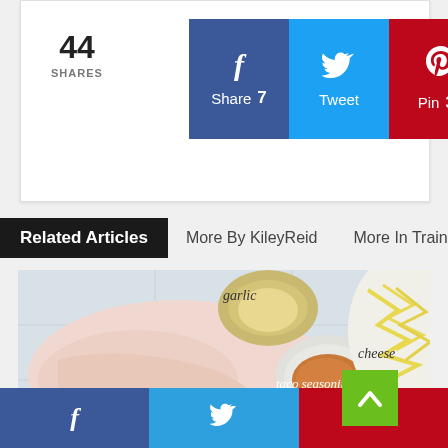44 SHARES
[Figure (infographic): Social sharing buttons: Facebook (Share 7), Twitter (Tweet), Pinterest (Pin 30)]
Related Articles
More By KileyReid
More In Training
[Figure (photo): Food ingredients photo showing chicken breast, garlic, taco seasoning, and cheese with handwritten labels]
[Figure (other): Social sharing bottom bar with Facebook, Twitter, and Pinterest icons]